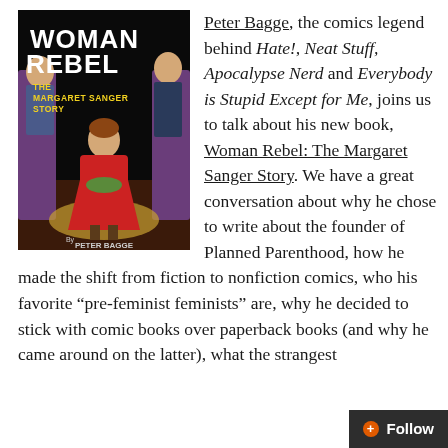[Figure (illustration): Book cover of 'Woman Rebel: The Margaret Sanger Story' by Peter Bagge. Black background with large white bold text 'WOMAN REBEL' and smaller text 'THE MARGARET SANGER STORY'. Cartoon illustration of a woman in red dress seated, with two figures flanking her.]
Peter Bagge, the comics legend behind Hate!, Neat Stuff, Apocalypse Nerd and Everybody is Stupid Except for Me, joins us to talk about his new book, Woman Rebel: The Margaret Sanger Story. We have a great conversation about why he chose to write about the founder of Planned Parenthood, how he made the shift from fiction to nonfiction comics, who his favorite “pre-feminist feminists” are, why he decided to stick with comic books over paperback books (and why he came around on the latter), what the strangest